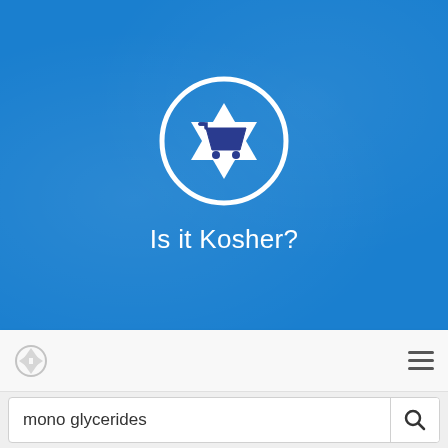[Figure (logo): Is it Kosher? app logo: a white circle containing a Star of David shape with a dark blue shopping cart inside, on a blue background. Below the logo circle is the text 'Is it Kosher?' in white.]
[Figure (screenshot): Navigation bar with a star/kosher icon on the left and a hamburger menu icon on the right, on a light grey background.]
mono glycerides